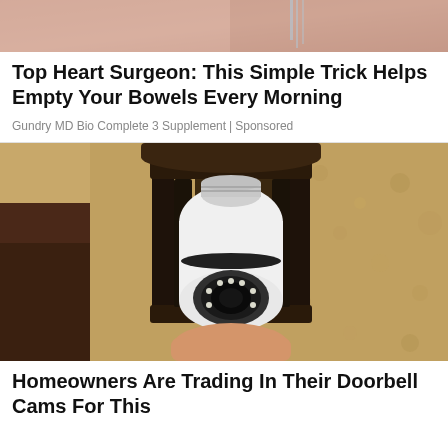[Figure (photo): Partial top image showing skin/body, cropped at top of page]
Top Heart Surgeon: This Simple Trick Helps Empty Your Bowels Every Morning
Gundry MD Bio Complete 3 Supplement | Sponsored
[Figure (photo): Photo of a security camera disguised as a light bulb, installed inside a black metal outdoor lamp fixture mounted on a textured stucco wall]
Homeowners Are Trading In Their Doorbell Cams For This